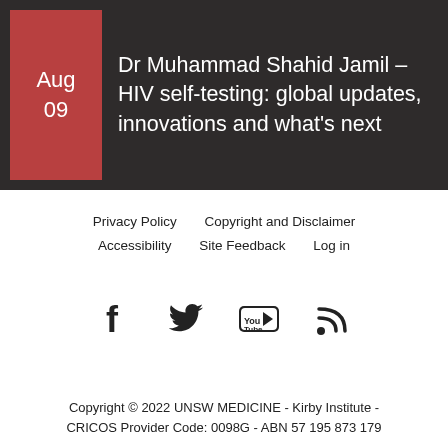[Figure (other): Dark banner with red date box showing Aug 09 and title text about Dr Muhammad Shahid Jamil HIV self-testing event]
Dr Muhammad Shahid Jamil – HIV self-testing: global updates, innovations and what's next
Aug
09
Privacy Policy   Copyright and Disclaimer
Accessibility   Site Feedback   Log in
[Figure (other): Social media icons: Facebook, Twitter, YouTube, RSS feed]
Copyright © 2022 UNSW MEDICINE - Kirby Institute - CRICOS Provider Code: 0098G - ABN 57 195 873 179